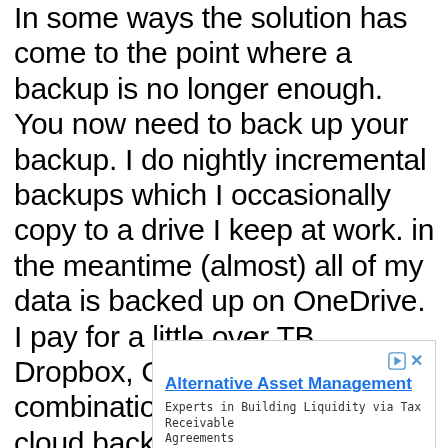In some ways the solution has come to the point where a backup is no longer enough. You now need to back up your backup. I do nightly incremental backups which I occasionally copy to a drive I keep at work. in the meantime (almost) all of my data is backed up on OneDrive. I pay for a little over TB. Dropbox, Google Drive, or a combination of 2 or all 3 free cloud backups should also work.
[Figure (screenshot): Advertisement banner for Alternative Asset Management by Parallaxes Capital, LLC with an Open button]